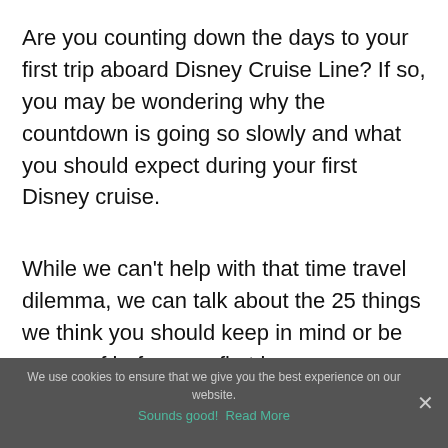Are you counting down the days to your first trip aboard Disney Cruise Line? If so, you may be wondering why the countdown is going so slowly and what you should expect during your first Disney cruise.
While we can't help with that time travel dilemma, we can talk about the 25 things we think you should keep in mind or be aware of before our first journey.
Have any points we missed or should add? Let us know in the comments! Some of the links
We use cookies to ensure that we give you the best experience on our website.
Sounds good!  Read More